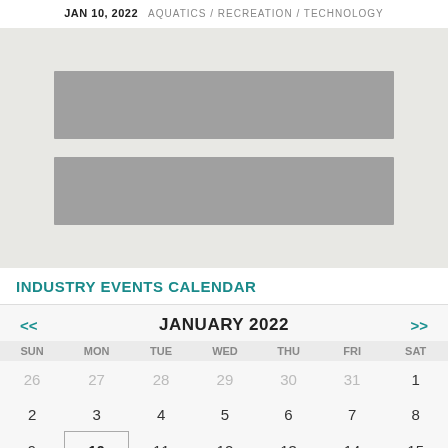JAN 10, 2022   AQUATICS / RECREATION / TECHNOLOGY
[Figure (illustration): Two gray banner/advertisement image placeholders on a light gray textured background]
INDUSTRY EVENTS CALENDAR
| SUN | MON | TUE | WED | THU | FRI | SAT |
| --- | --- | --- | --- | --- | --- | --- |
| 26 | 27 | 28 | 29 | 30 | 31 | 1 |
| 2 | 3 | 4 | 5 | 6 | 7 | 8 |
| 9 | 10 | 11 | 12 | 13 | 14 | 15 |